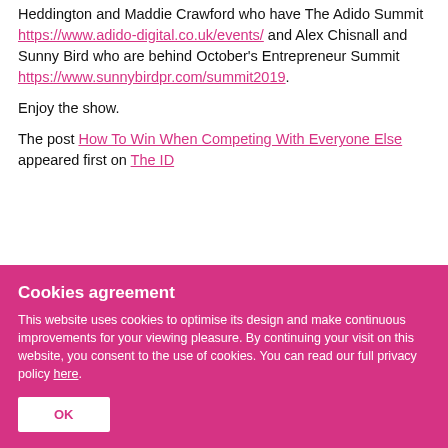Heddington and Maddie Crawford who have The Adido Summit https://www.adido-digital.co.uk/events/ and Alex Chisnall and Sunny Bird who are behind October's Entrepreneur Summit https://www.sunnybirdpr.com/summit2019.
Enjoy the show.
The post How To Win When Competing With Everyone Else appeared first on The ID...
Cookies agreement
This website uses cookies to optimise its design and make continuous improvements for your viewing pleasure. By continuing your visit on this website, you consent to the use of cookies. You can read our full privacy policy here.